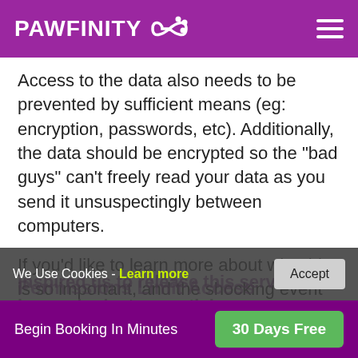PAWFINITY
Access to the data also needs to be prevented by sufficient means (eg: encryption, passwords, etc). Additionally, the data should be encrypted so the "bad guys" can't freely read your data as you send it unsuspectingly between computers.
If you'd like to learn more about why this is so important, and the shocking event that inspired us to release this service, have a look at our article on
Permissions Limit Access
We Use Cookies - Learn more  Accept
Begin Booking In Minutes  30 Days Free